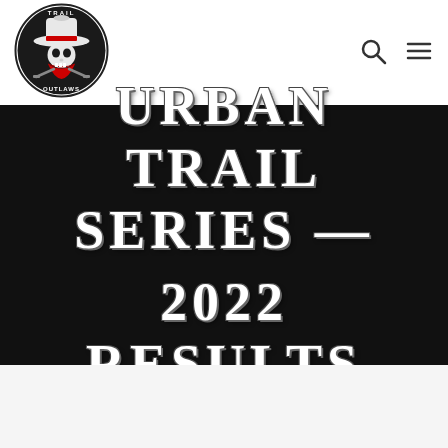[Figure (logo): Trail Outlaws circular logo: skull wearing cowboy hat with red bandana, crossed pistols, text 'TRAIL OUTLAWS']
[Figure (other): Search icon (magnifying glass)]
[Figure (other): Hamburger menu icon (three horizontal lines)]
URBAN TRAIL SERIES -- 2022 RESULTS